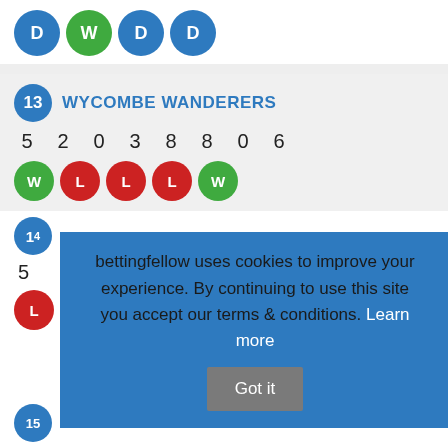[Figure (infographic): Row of result circles: D (blue), W (green), D (blue), D (blue)]
[Figure (infographic): Team row: rank 13, WYCOMBE WANDERERS. Stats: 5 2 0 3 8 8 0 6. Form: W (green), L (red), L (red), L (red), W (green)]
[Figure (infographic): Partial team row rank 14, partially hidden by overlay. Form: L (red).]
bettingfellow uses cookies to improve your experience. By continuing to use this site you accept our terms & conditions. Learn more Got it
[Figure (infographic): Partial team row rank 15: BRISTOL ROVERS, partially visible at bottom]